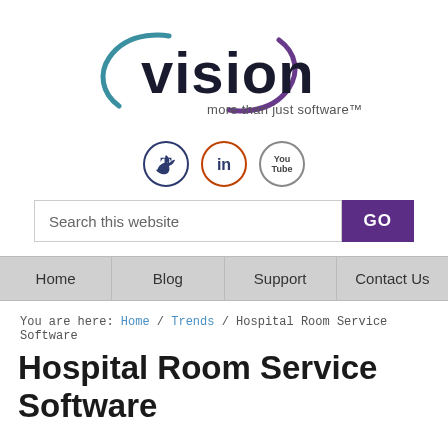[Figure (logo): Vision software company logo with circular arc graphic and tagline 'more than just software™']
[Figure (infographic): Three social media icon buttons: Twitter (bird icon, dark blue circle border), LinkedIn (in, orange circle border), YouTube (You Tube text, gray circle border)]
Search this website
GO
Home / Blog / Support / Contact Us
You are here: Home / Trends / Hospital Room Service Software
Hospital Room Service Software